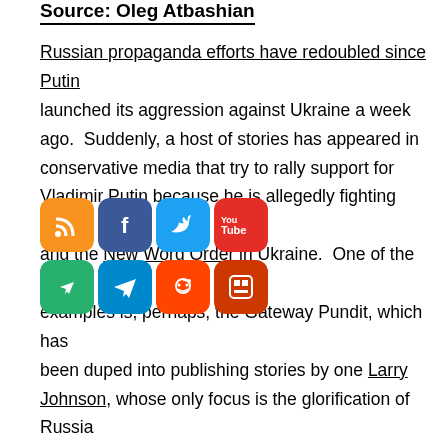Source: Oleg Atbashian
Russian propaganda efforts have redoubled since Putin launched its aggression against Ukraine a week ago.  Suddenly, a host of stories has appeared in conservative media that try to rally support for Vladimir Putin because he is allegedly fighting Nazis and the New Word Order in Ukraine.  One of the worst examples is, perhaps, the Gateway Pundit, which has been duped into publishing stories by one Larry Johnson, whose only focus is the glorification of Russia and the smearing of Ukraine as a nation of Nazis.
[Figure (other): Social media sharing icons: RSS (orange), Facebook (blue), Twitter (light blue), YouTube (red), Green messenger icon, Telegram (blue), Reddit (orange-red), and a dark red icon]
We could respond by advising Russia and its advocates to worry about their own neo-Nazi infestation, but since this smear has now become widespread, it is